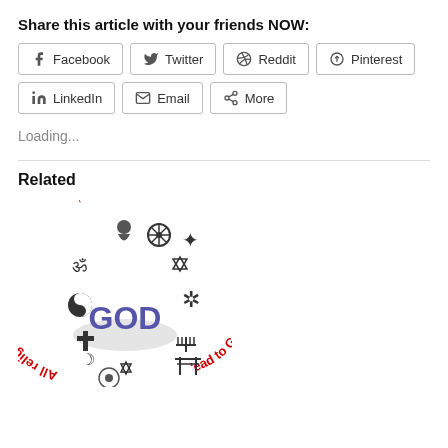Share this article with your friends NOW:
[Figure (screenshot): Social share buttons: Facebook, Twitter, Reddit, Pinterest, LinkedIn, Email, More]
Loading...
Related
[Figure (illustration): Circular arrangement of religious symbols (Om, Yin-Yang, Cross, Crescent, Dharma wheel, Star of David, Menorah, Torii gate, and others) around the word GOD in blue, with text 'All religions lead to God' in red arranged in a circle]